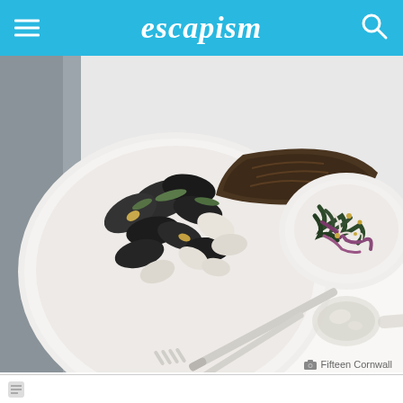escapism
[Figure (photo): Overhead view of restaurant seafood dishes on white plates — mussels and clams on a large plate with a whole fish, a colorful seaweed salad on another plate, a wine glass lying on its side, and cutlery (knife and fork) on a white table surface]
Fifteen Cornwall